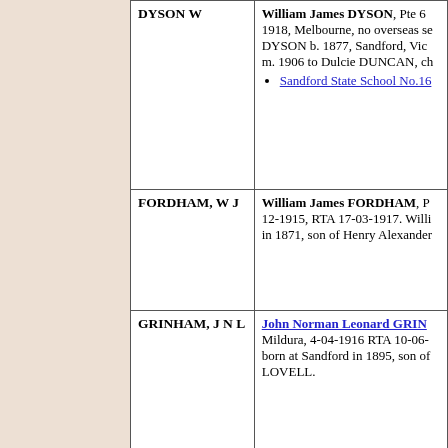| Name | Details |
| --- | --- |
| DYSON W | William James DYSON, Pte 6... 1918, Melbourne, no overseas se... DYSON b. 1877, Sandford, Vic... m. 1906 to Dulcie DUNCAN, ch... • Sandford State School No.16... |
| FORDHAM, W J | William James FORDHAM, P... 12-1915, RTA 17-03-1917. Willi... in 1871, son of Henry Alexander... |
| GRINHAM, J N L | John Norman Leonard GRIN... Mildura, 4-04-1916 RTA 10-06-... born at Sandford in 1895, son of... LOVELL. |
| GRINHAM, M R [DCM] | Melville Roy GRINHAM [DCM]... 1915 RTA 25-11-1917. Melville... in 1898, son of Louis Edward G... Awarded the Distinguished Cond... Siblings of Melville were born a... • Merino War Memorial. • Sandford State School No.16... |
| GRINHAM, L E | Louis Edward GRINHAM, Pte... 25-05-1918 RTA 17-07-1919. Lo... Gambier, SA in 1900, son of Lo... POTTER. Siblings of L... |